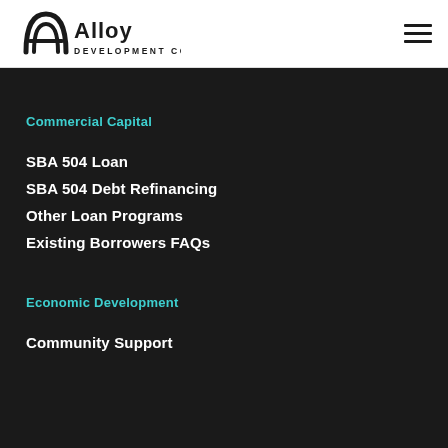[Figure (logo): Alloy Development Co. logo with stylized 'A' icon and text]
Commercial Capital
SBA 504 Loan
SBA 504 Debt Refinancing
Other Loan Programs
Existing Borrowers FAQs
Economic Development
Community Support